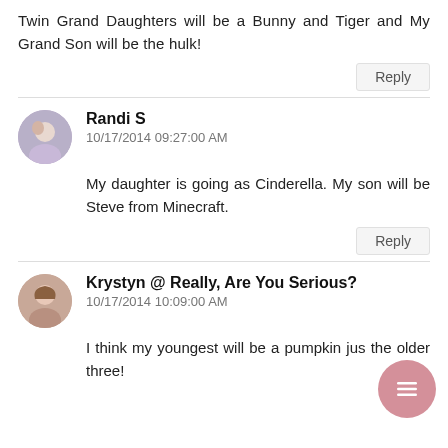Twin Grand Daughters will be a Bunny and Tiger and My Grand Son will be the hulk!
Reply
Randi S
10/17/2014 09:27:00 AM
My daughter is going as Cinderella. My son will be Steve from Minecraft.
Reply
Krystyn @ Really, Are You Serious?
10/17/2014 10:09:00 AM
I think my youngest will be a pumpkin jus the older three!